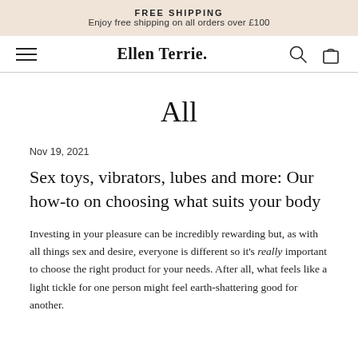FREE SHIPPING
Enjoy free shipping on all orders over £100
Ellen Terrie.
All
Nov 19, 2021
Sex toys, vibrators, lubes and more: Our how-to on choosing what suits your body
Investing in your pleasure can be incredibly rewarding but, as with all things sex and desire, everyone is different so it's really important to choose the right product for your needs. After all, what feels like a light tickle for one person might feel earth-shattering good for another.